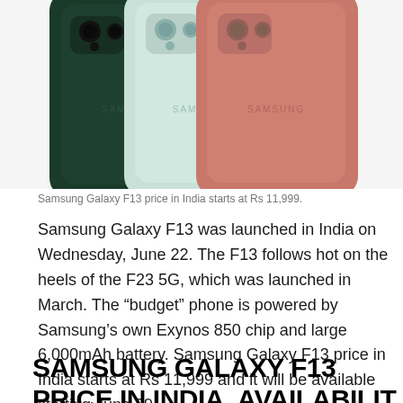[Figure (photo): Three Samsung Galaxy F13 smartphones shown from the back: dark green on the left, light blue/mint in the center, and rose gold/copper on the right. All show the Samsung logo on the back.]
Samsung Galaxy F13 price in India starts at Rs 11,999.
Samsung Galaxy F13 was launched in India on Wednesday, June 22. The F13 follows hot on the heels of the F23 5G, which was launched in March. The “budget” phone is powered by Samsung’s own Exynos 850 chip and large 6,000mAh battery. Samsung Galaxy F13 price in India starts at Rs 11,999 and it will be available starting June 29.
SAMSUNG GALAXY F13 PRICE IN INDIA, AVAILABILITY